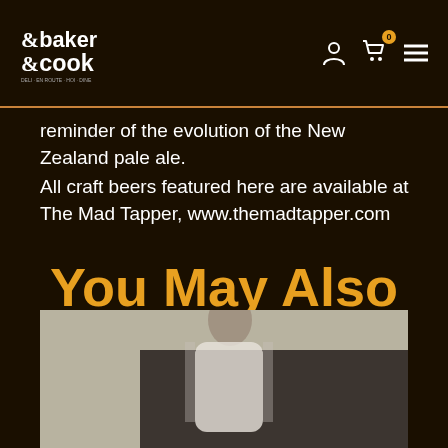&baker &cook — navigation header with logo, account icon, cart (0), and menu
reminder of the evolution of the New Zealand pale ale.
All craft beers featured here are available at The Mad Tapper, www.themadtapper.com
You May Also Like
[Figure (photo): Blurred photo of a man in a white shirt walking, with a dark inset panel in the background]